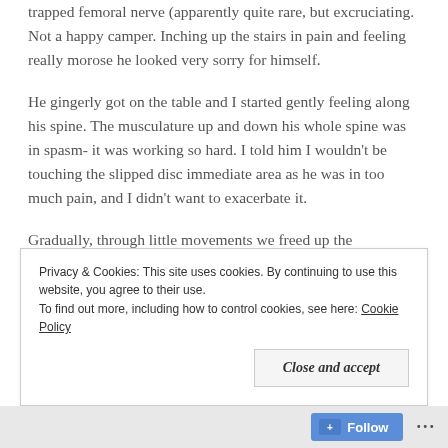trapped femoral nerve (apparently quite rare, but excruciating. Not a happy camper. Inching up the stairs in pain and feeling really morose he looked very sorry for himself.
He gingerly got on the table and I started gently feeling along his spine. The musculature up and down his whole spine was in spasm- it was working so hard. I told him I wouldn’t be touching the slipped disc immediate area as he was in too much pain, and I didn’t want to exacerbate it.
Gradually, through little movements we freed up the
Privacy & Cookies: This site uses cookies. By continuing to use this website, you agree to their use.
To find out more, including how to control cookies, see here: Cookie Policy